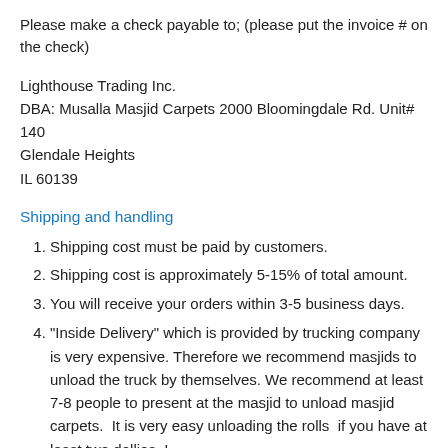Please make a check payable to; (please put the invoice # on the check)
Lighthouse Trading Inc.
DBA: Musalla Masjid Carpets 2000 Bloomingdale Rd. Unit# 140
Glendale Heights
IL 60139
Shipping and handling
Shipping cost must be paid by customers.
Shipping cost is approximately 5-15% of total amount.
You will receive your orders within 3-5 business days.
"Inside Delivery" which is provided by trucking company is very expensive. Therefore we recommend masjids to unload the truck by themselves. We recommend at least 7-8 people to present at the masjid to unload masjid carpets.  It is very easy unloading the rolls  if you have at least two dollies. I